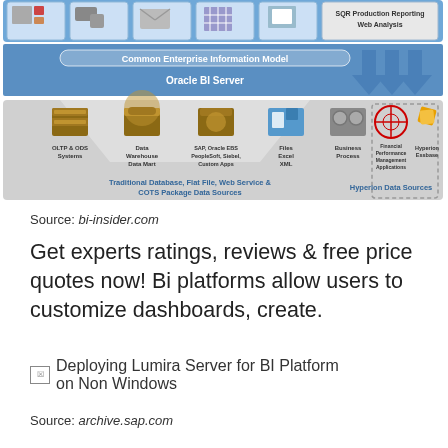[Figure (infographic): Oracle BI architecture diagram showing Common Enterprise Information Model / Oracle BI Server connected to various data sources including OLTP & ODS Systems, Data Warehouse Data Mart, SAP/Oracle EBS/PeopleSoft/Siebel/Custom Apps, Files Excel XML, Business Process, Financial Performance Management Applications, and Hyperion Essbase. Blue arrows pointing down on right side.]
Traditional Database, Flat File, Web Service & COTS Package Data Sources
Hyperion Data Sources
Source: bi-insider.com
Get experts ratings, reviews & free price quotes now! Bi platforms allow users to customize dashboards, create.
[Figure (photo): Broken image placeholder for 'Deploying Lumira Server for BI Platform on Non Windows']
Source: archive.sap.com